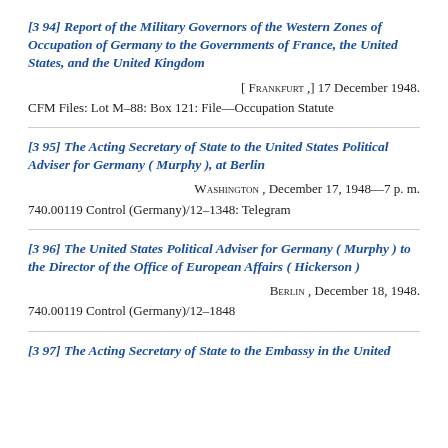[394] Report of the Military Governors of the Western Zones of Occupation of Germany to the Governments of France, the United States, and the United Kingdom
[ Frankfurt ,] 17 December 1948.
CFM Files: Lot M–88: Box 121: File—Occupation Statute
[395] The Acting Secretary of State to the United States Political Adviser for Germany ( Murphy ), at Berlin
Washington , December 17, 1948—7 p. m.
740.00119 Control (Germany)/12–1348: Telegram
[396] The United States Political Adviser for Germany ( Murphy ) to the Director of the Office of European Affairs ( Hickerson )
Berlin , December 18, 1948.
740.00119 Control (Germany)/12–1848
[397] The Acting Secretary of State to the Embassy in the United